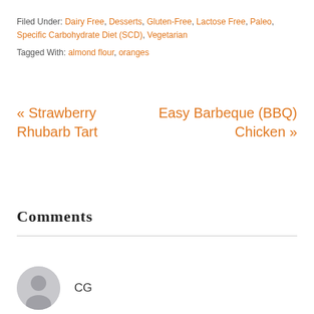Filed Under: Dairy Free, Desserts, Gluten-Free, Lactose Free, Paleo, Specific Carbohydrate Diet (SCD), Vegetarian
Tagged With: almond flour, oranges
« Strawberry Rhubarb Tart
Easy Barbeque (BBQ) Chicken »
Comments
CG